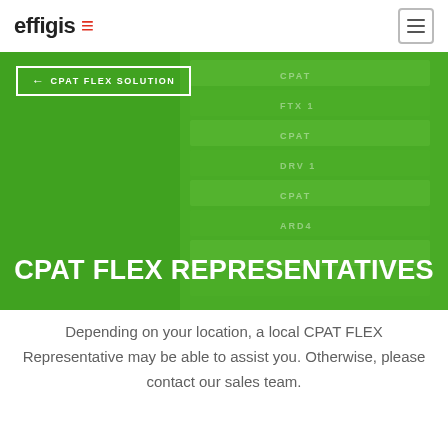effigis [logo]
[Figure (photo): Green background hero image showing stacked CPAT FLEX product boxes, with a back-navigation button labeled '← CPAT FLEX SOLUTION' in the upper-left and a large white bold heading 'CPAT FLEX REPRESENTATIVES' overlaid at the bottom.]
Depending on your location, a local CPAT FLEX Representative may be able to assist you. Otherwise, please contact our sales team.